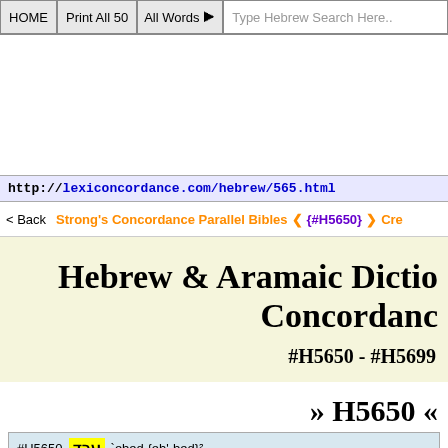HOME | Print All 50 | All Words | Type Hebrew Search Here..
http://lexiconcordance.com/hebrew/565.html
< Back  Strong's Concordance Parallel Bibles  { {#H5650}  > Cr
Hebrew & Aramaic Dictionary Concordance
#H5650 - #H5699
» H5650 «
#H5650 [Hebrew word]